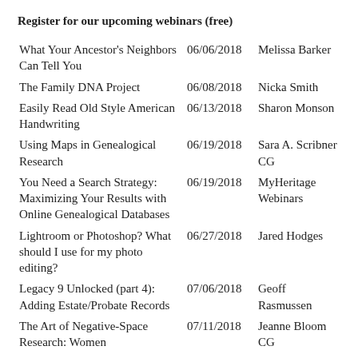Register for our upcoming webinars (free)
| Webinar Title | Date | Speaker |
| --- | --- | --- |
| What Your Ancestor's Neighbors Can Tell You | 06/06/2018 | Melissa Barker |
| The Family DNA Project | 06/08/2018 | Nicka Smith |
| Easily Read Old Style American Handwriting | 06/13/2018 | Sharon Monson |
| Using Maps in Genealogical Research | 06/19/2018 | Sara A. Scribner CG |
| You Need a Search Strategy: Maximizing Your Results with Online Genealogical Databases | 06/19/2018 | MyHeritage Webinars |
| Lightroom or Photoshop? What should I use for my photo editing? | 06/27/2018 | Jared Hodges |
| Legacy 9 Unlocked (part 4): Adding Estate/Probate Records | 07/06/2018 | Geoff Rasmussen |
| The Art of Negative-Space Research: Women | 07/11/2018 | Jeanne Bloom CG |
| Freedmen's Bureau Records - Valuable to ALL Southern research | 07/13/2018 | Diane L. Richard |